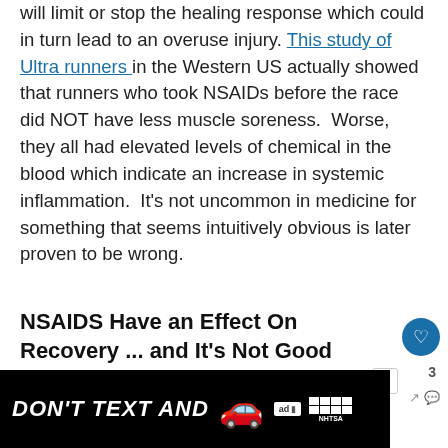will limit or stop the healing response which could in turn lead to an overuse injury. This study of Ultra runners in the Western US actually showed that runners who took NSAIDs before the race did NOT have less muscle soreness.  Worse, they all had elevated levels of chemical in the blood which indicate an increase in systemic inflammation.  It's not uncommon in medicine for something that seems intuitively obvious is later proven to be wrong.
NSAIDS Have an Effect On Recovery ... and It's Not Good
NSAIDs have been found to eliminate the skelet... m... att...
[Figure (other): Advertisement banner: DON'T TEXT AND [car emoji] with ad badge and NHTSA logo, with close button]